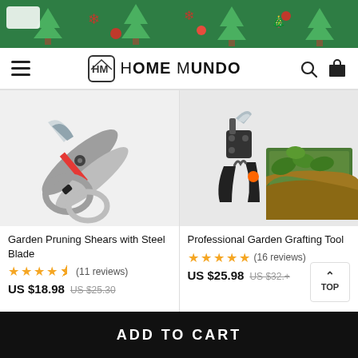[Figure (photo): Christmas themed banner with green background, trees and decorations]
HOME MUNDO navigation bar with hamburger menu, logo, search and cart icons
[Figure (photo): Garden Pruning Shears with Steel Blade product image - silver/grey pruning shears]
Garden Pruning Shears with Steel Blade
★★★★½ (11 reviews)
US $18.98   US $25.30
[Figure (photo): Professional Garden Grafting Tool product image - black grafting tool with inset photo of branch]
Professional Garden Grafting Tool
★★★★★ (16 reviews)
US $25.98   US $32.+
TOP
ADD TO CART